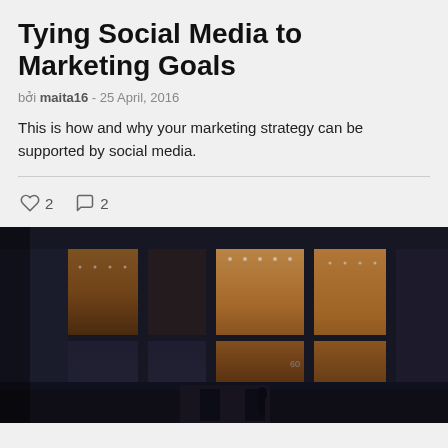Tying Social Media to Marketing Goals
bởi maita16 - 25 April, 2016
This is how and why your marketing strategy can be supported by social media.
♡ 2  ○ 2
[Figure (photo): Dark exterior photo of a modern building with large floor-to-ceiling glass windows illuminated from inside with warm amber/orange light, viewed at night.]